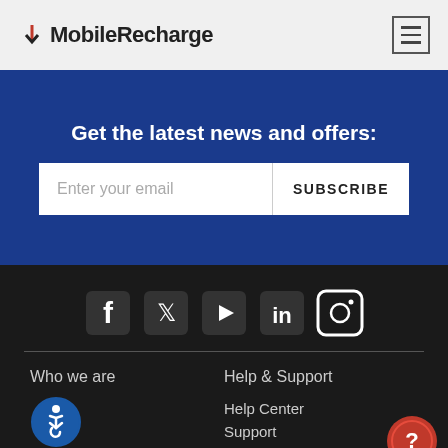MobileRecharge
Get the latest news and offers:
Enter your email | SUBSCRIBE
[Figure (infographic): Social media icons row: Facebook, Twitter, YouTube, LinkedIn, Instagram on dark background]
Who we are
[Figure (illustration): Accessibility wheelchair icon in blue circle]
My Account
Help & Support
Help Center
Support
[Figure (illustration): Red circle with question mark - help button]